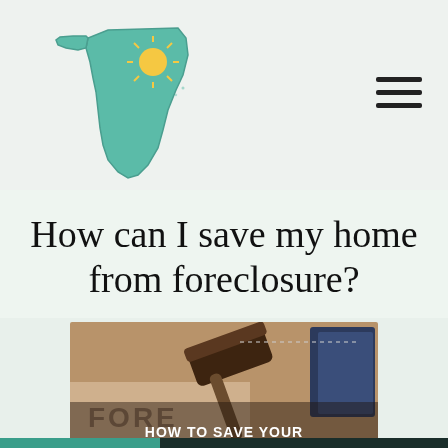[Figure (logo): Killebrew & Company Realty, Inc. logo with Florida state map shape in teal and a sun burst, with company name text]
How can I save my home from foreclosure?
[Figure (photo): Photo of a judge's gavel on a foreclosure document with overlay text reading 'HOW TO SAVE YOUR FLORIDA HOME FROM FORECLOSURE']